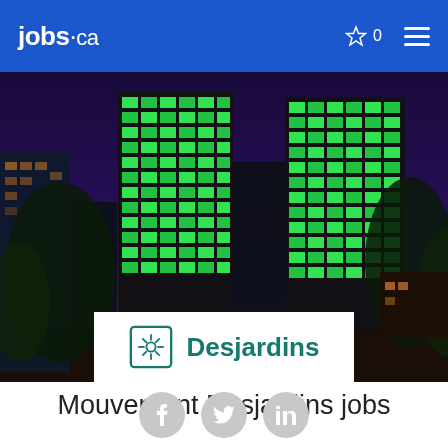jobs.ca  ☆ 0  ≡
[Figure (photo): Night photo of Desjardins skyscrapers illuminated in green against a dark purple sky, with trees in foreground. Desjardins logo (white card with teal icon and text) overlaid at the bottom center.]
Mouvement Desjardins jobs
[Figure (other): Three social media icons: Facebook (f), Twitter (bird), LinkedIn (in) in gray circles]